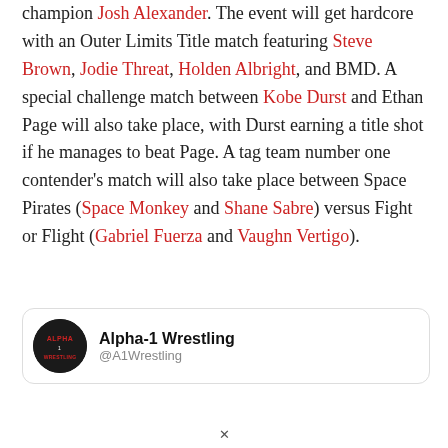champion Josh Alexander. The event will get hardcore with an Outer Limits Title match featuring Steve Brown, Jodie Threat, Holden Albright, and BMD. A special challenge match between Kobe Durst and Ethan Page will also take place, with Durst earning a title shot if he manages to beat Page. A tag team number one contender's match will also take place between Space Pirates (Space Monkey and Shane Sabre) versus Fight or Flight (Gabriel Fuerza and Vaughn Vertigo).
[Figure (other): Alpha-1 Wrestling social media card with circular logo avatar and account name 'Alpha-1 Wrestling' with handle '@A1Wrestling' partially visible]